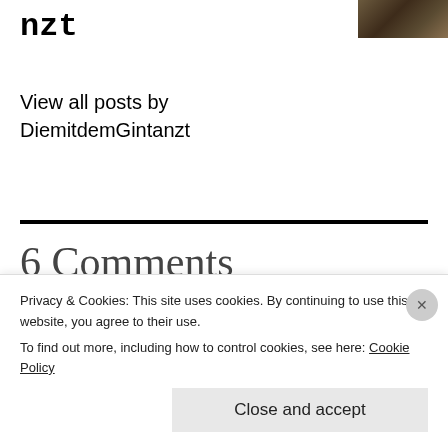nzt
[Figure (photo): Partial image of dark brown textured surface in top-right corner]
View all posts by DiemitdemGintanzt
6 Comments
tillyvinnie
January 30, 2015 at 1:24 pm
Privacy & Cookies: This site uses cookies. By continuing to use this website, you agree to their use.
To find out more, including how to control cookies, see here: Cookie Policy
Close and accept